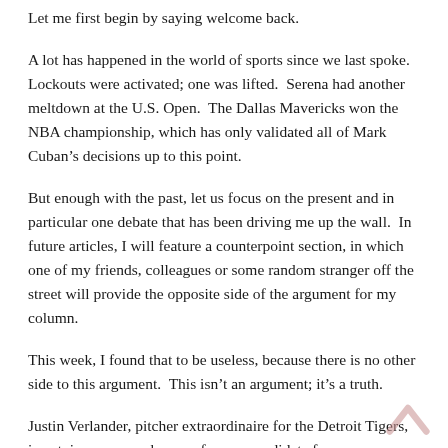Let me first begin by saying welcome back.
A lot has happened in the world of sports since we last spoke. Lockouts were activated; one was lifted.  Serena had another meltdown at the U.S. Open.  The Dallas Mavericks won the NBA championship, which has only validated all of Mark Cuban’s decisions up to this point.
But enough with the past, let us focus on the present and in particular one debate that has been driving me up the wall.  In future articles, I will feature a counterpoint section, in which one of my friends, colleagues or some random stranger off the street will provide the opposite side of the argument for my column.
This week, I found that to be useless, because there is no other side to this argument.  This isn’t an argument; it’s a truth.
Justin Verlander, pitcher extraordinaire for the Detroit Tigers, is not, in any way, shape or form, a candidate for